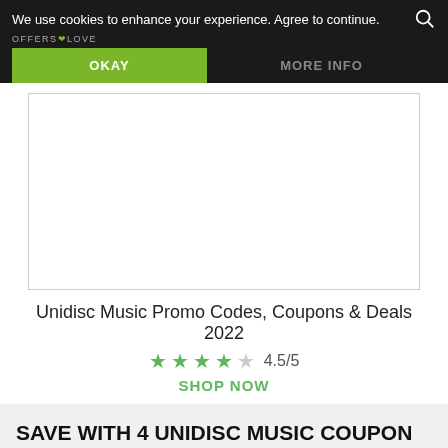We use cookies to enhance your experience. Agree to continue.
OFFERS LOVE
OKAY
MORE INFO
[Figure (other): Advertisement placeholder box with border]
Unidisc Music Promo Codes, Coupons & Deals 2022
★ ★ ★ ★ ☆  4.5/5
SHOP NOW
SAVE WITH 4 UNIDISC MUSIC COUPON CODES AND PROMO CODES